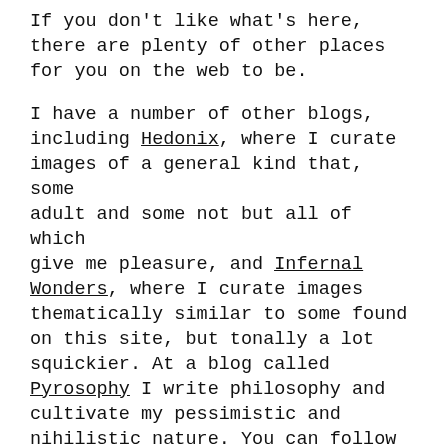If you don't like what's here, there are plenty of other places for you on the web to be.
I have a number of other blogs, including Hedonix, where I curate images of a general kind that, some adult and some not but all of which give me pleasure, and Infernal Wonders, where I curate images thematically similar to some found on this site, but tonally a lot squickier. At a blog called Pyrosophy I write philosophy and cultivate my pessimistic and nihilistic nature. You can follow me on twitter at @EroticMadSci.
I reblog images here that other